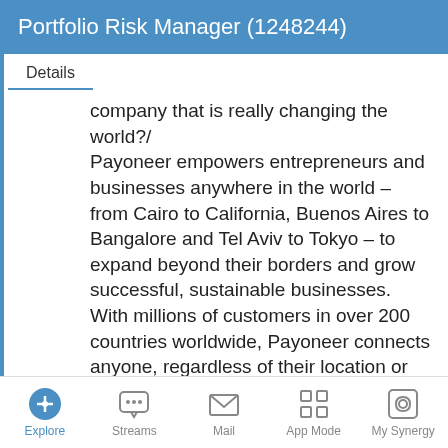Portfolio Risk Manager (1248244)
Details
company that is really changing the world?/ Payoneer empowers entrepreneurs and businesses anywhere in the world – from Cairo to California, Buenos Aires to Bangalore and Tel Aviv to Tokyo – to expand beyond their borders and grow successful, sustainable businesses. With millions of customers in over 200 countries worldwide, Payoneer connects anyone, regardless of their location or socio-economic background, with opportunities to trade globally./ /
Explore  Streams  Mail  App Mode  My Synergy